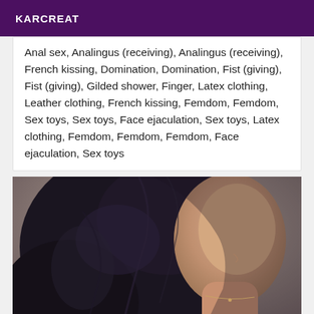KARCREAT
Anal sex, Analingus (receiving), Analingus (receiving), French kissing, Domination, Domination, Fist (giving), Fist (giving), Gilded shower, Finger, Latex clothing, Leather clothing, French kissing, Femdom, Femdom, Sex toys, Sex toys, Face ejaculation, Sex toys, Latex clothing, Femdom, Femdom, Femdom, Face ejaculation, Sex toys
[Figure (photo): Close-up photo of a young woman with long dark hair, smiling slightly, wearing a thin necklace and a black top, photographed from the neck up against a neutral background.]